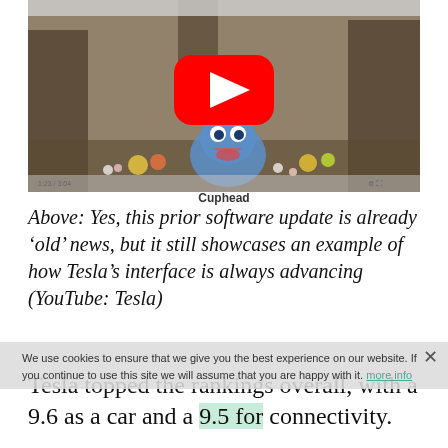[Figure (screenshot): A YouTube video thumbnail showing the game Cuphead with a large red YouTube play button in the center. The scene shows cartoon characters in a forest setting.]
Cuphead
Above: Yes, this prior software update is already ‘old’ news, but it still showcases an example of how Tesla’s interface is always advancing (YouTube: Tesla)
Tesla topped the rankings overall, with a 9.6 as a car and a 9.5 for connectivity.